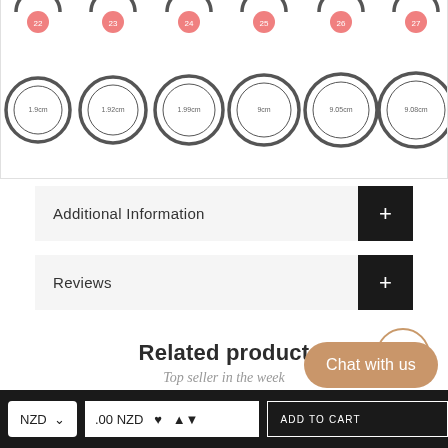[Figure (illustration): Ring size chart showing rings numbered 22-27 with diameter measurements: 1.9cm, 1.92cm, 1.99cm, 9cm, 9.05cm, 9.08cm]
Additional Information
Reviews
Related product
Top seller in the week
Chat with us
NZD  .00 NZD  ADD TO CART